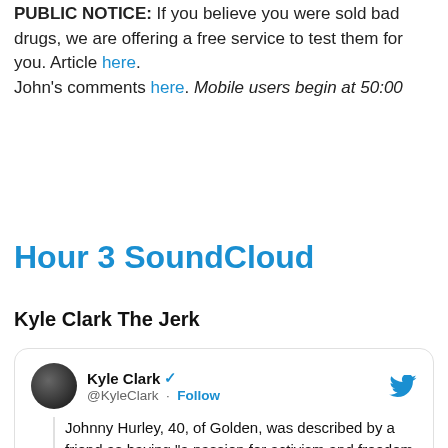PUBLIC NOTICE: If you believe you were sold bad drugs, we are offering a free service to test them for you. Article here. John's comments here. Mobile users begin at 50:00
Hour 3 SoundCloud
Kyle Clark The Jerk
[Figure (screenshot): Embedded tweet from @KyleClark (Kyle Clark, verified) with Twitter bird icon. Text: 'Johnny Hurley, 40, of Golden, was described by a friend as having "a passion for activism and freedom and the Constitution." Arvada Police haven't said who shot and killed Hurley, who police described as a']